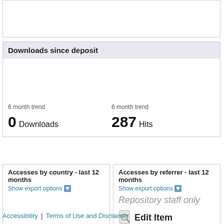Downloads since deposit
6 month trend
6 month trend
0 Downloads
287 Hits
Accesses by country - last 12 months
Show export options
Accesses by referrer - last 12 months
Show export options
Repository staff only
Edit Item
Accessibility | Terms of Use and Disclaimer